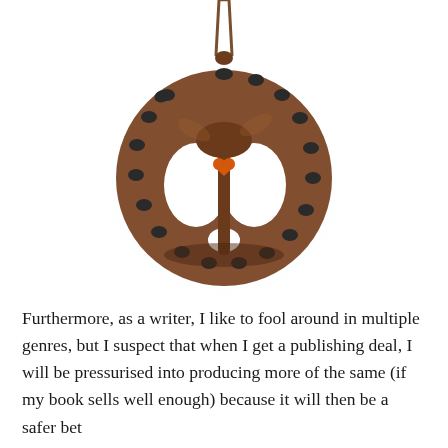[Figure (photo): A wooden pendant necklace in the shape of a braided/woven circular design resembling a tree of life or Celtic knot. The pendant is dark brown wood with carved openings and small dark inlays. At the center is a small orange heart-shaped element. The pendant hangs from a braided brown cord visible at the top of the image.]
Furthermore, as a writer, I like to fool around in multiple genres, but I suspect that when I get a publishing deal, I will be pressurised into producing more of the same (if my book sells well enough) because it will then be a safer bet